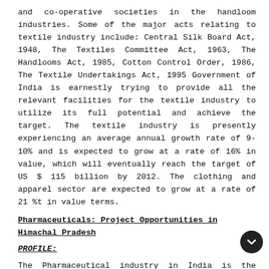and co-operative societies in the handloom industries. Some of the major acts relating to textile industry include: Central Silk Board Act, 1948, The Textiles Committee Act, 1963, The Handlooms Act, 1985, Cotton Control Order, 1986, The Textile Undertakings Act, 1995 Government of India is earnestly trying to provide all the relevant facilities for the textile industry to utilize its full potential and achieve the target. The textile industry is presently experiencing an average annual growth rate of 9-10% and is expected to grow at a rate of 16% in value, which will eventually reach the target of US $ 115 billion by 2012. The clothing and apparel sector are expected to grow at a rate of 21 %t in value terms.
Pharmaceuticals: Project Opportunities in Himachal Pradesh
PROFILE:
The Pharmaceutical industry in India is the world's third-largest in terms of volume and stands 14th in terms of value. The Indian pharmaceuticals market is expected to reach US$ 55 billion in 2020 from US$ 12.6 billion in 2009. The pharmaceutical industry in India